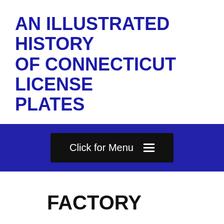AN ILLUSTRATED HISTORY OF CONNECTICUT LICENSE PLATES
[Figure (other): Navigation bar with dark blue background containing a black 'Click for Menu' button with hamburger icon]
FACTORY
A testament to Connecticut's industrial past; these plates are used on vehicles which are largely